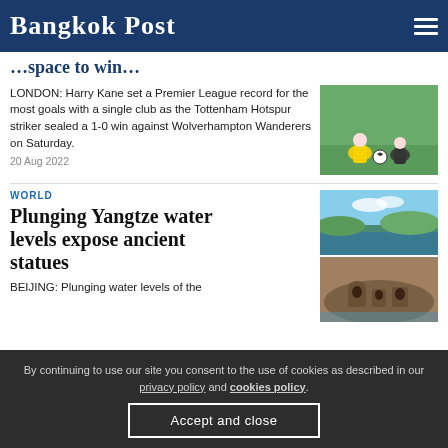Bangkok Post
…space to win…
LONDON: Harry Kane set a Premier League record for the most goals with a single club as the Tottenham Hotspur striker sealed a 1-0 win against Wolverhampton Wanderers on Saturday.
20 Aug 2022
WORLD
Plunging Yangtze water levels expose ancient statues
BEIJING: Plunging water levels of the
By continuing to use our site you consent to the use of cookies as described in our privacy policy and cookies policy.
Accept and close